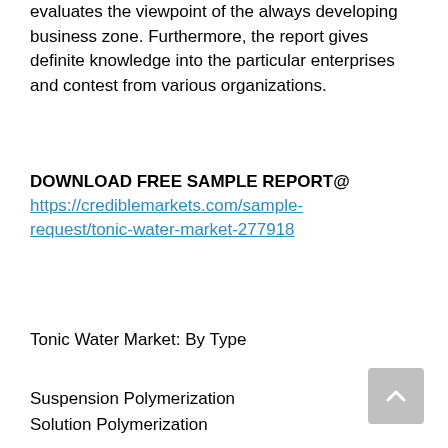evaluates the viewpoint of the always developing business zone. Furthermore, the report gives definite knowledge into the particular enterprises and contest from various organizations.
DOWNLOAD FREE SAMPLE REPORT@ https://crediblemarkets.com/sample-request/tonic-water-market-277918
Tonic Water Market: By Type
Suspension Polymerization
Solution Polymerization